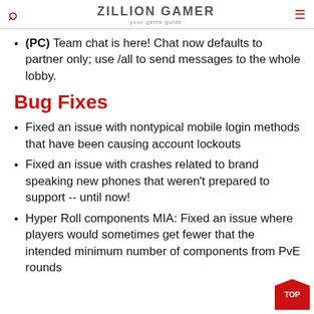ZILLION GAMER your game guide
(PC) Team chat is here! Chat now defaults to partner only; use /all to send messages to the whole lobby.
Bug Fixes
Fixed an issue with nontypical mobile login methods that have been causing account lockouts
Fixed an issue with crashes related to brand speaking new phones that weren't prepared to support -- until now!
Hyper Roll components MIA: Fixed an issue where players would sometimes get fewer that the intended minimum number of components from PvE rounds